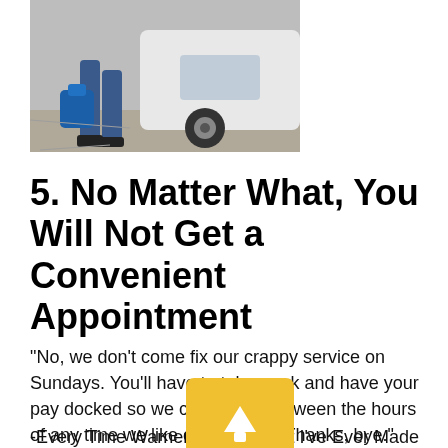[Figure (photo): Partial photo showing a person's legs in jeans carrying a blue bag, walking near a white vehicle on a sidewalk.]
5. No Matter What, You Will Not Get a Convenient Appointment
“No, we don't come fix our crappy service on Sundays. You'll have to take off work and have your pay docked so we can come by between the hours of any time we like on Thursday. Thanks, bye.”
-Every Time Warner Appointment I've Ever Made